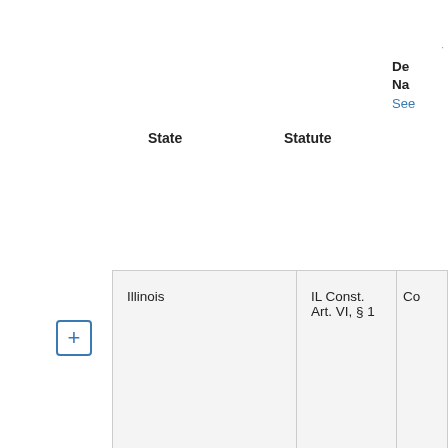| State | Statute | De Na |
| --- | --- | --- |
| Illinois | IL Const. Art. VI, § 1 | Co |
| Maine | Me. Rev. Stat. tit 4 § 421 | Es |